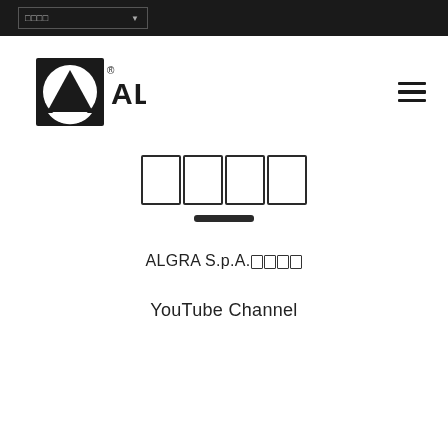□□□□ ▼
[Figure (logo): ALGRA S.p.A. company logo — black square with white circle containing a black triangle, followed by ALGRA text in bold sans-serif]
□□□□
ALGRA S.p.A.□□□□
YouTube Channel